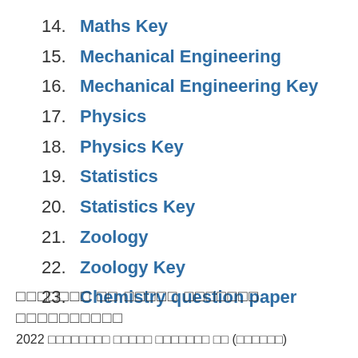14. Maths Key
15. Mechanical Engineering
16. Mechanical Engineering Key
17. Physics
18. Physics Key
19. Statistics
20. Statistics Key
21. Zoology
22. Zoology Key
23. Chemistry question paper
□□□□□□□ □□ □□□□□ □□□□□□□ □□□□□□□□□□
2022 □□□□□□□□ □□□□□ □□□□□□□ □□ (□□□□□□)